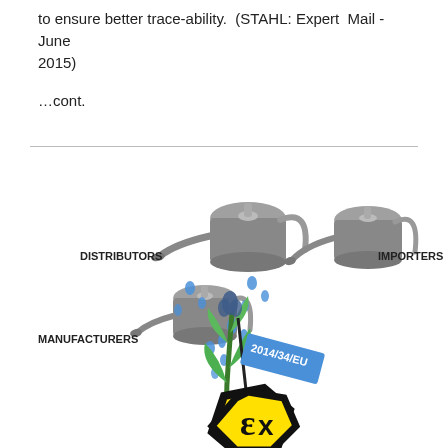to ensure better trace-ability. (STAHL: Expert Mail -June 2015)
…cont.
[Figure (illustration): Infographic showing three watering cans labeled DISTRIBUTORS, IMPORTERS, and MANUFACTURERS pouring water droplets onto a plant growing out of a yellow ATEX (Ex) hexagonal symbol, with a flag reading 2014/34/EU attached to the plant stem.]